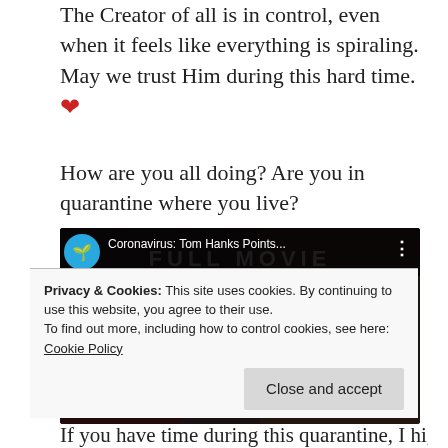The Creator of all is in control, even when it feels like everything is spiraling. May we trust Him during this hard time. ❤
How are you all doing? Are you in quarantine where you live?
[Figure (screenshot): YouTube video thumbnail showing 'Coronavirus: Tom Hanks Points...' with a pandemic movie background and red play button]
Privacy & Cookies: This site uses cookies. By continuing to use this website, you agree to their use. To find out more, including how to control cookies, see here: Cookie Policy
If you have time during this quarantine, I highly